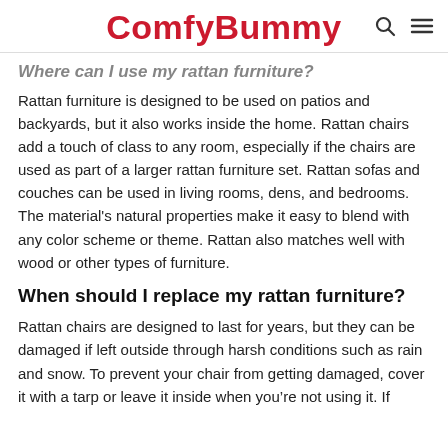ComfyBummy
Where can I use my rattan furniture?
Rattan furniture is designed to be used on patios and backyards, but it also works inside the home. Rattan chairs add a touch of class to any room, especially if the chairs are used as part of a larger rattan furniture set. Rattan sofas and couches can be used in living rooms, dens, and bedrooms. The material's natural properties make it easy to blend with any color scheme or theme. Rattan also matches well with wood or other types of furniture.
When should I replace my rattan furniture?
Rattan chairs are designed to last for years, but they can be damaged if left outside through harsh conditions such as rain and snow. To prevent your chair from getting damaged, cover it with a tarp or leave it inside when you're not using it. If